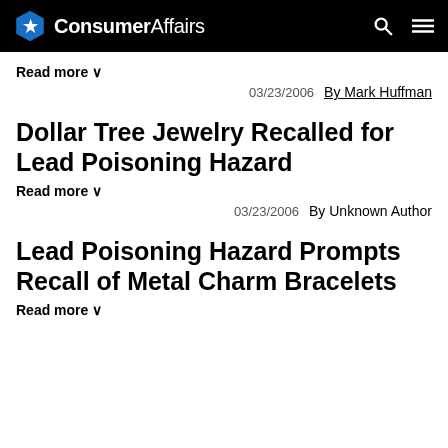ConsumerAffairs
Read more ∨
03/23/2006   By Mark Huffman
Dollar Tree Jewelry Recalled for Lead Poisoning Hazard
Read more ∨
03/23/2006   By Unknown Author
Lead Poisoning Hazard Prompts Recall of Metal Charm Bracelets
Read more ∨